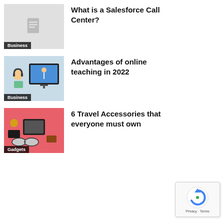[Figure (screenshot): Thumbnail with document icon and Business badge for Salesforce Call Center article]
What is a Salesforce Call Center?
[Figure (photo): Child with headphones in front of a computer showing online teaching, with Business badge]
Advantages of online teaching in 2022
[Figure (photo): Travel accessories laid out on pink background, with Gadgets badge]
6 Travel Accessories that everyone must own
[Figure (other): reCAPTCHA widget with Privacy and Terms links]